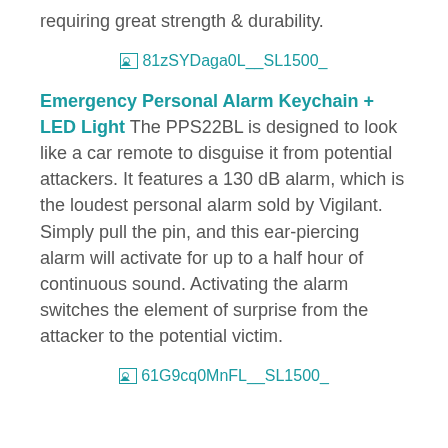requiring great strength & durability.
[Figure (photo): Broken image placeholder labeled 81zSYDaga0L__SL1500_]
Emergency Personal Alarm Keychain + LED Light The PPS22BL is designed to look like a car remote to disguise it from potential attackers. It features a 130 dB alarm, which is the loudest personal alarm sold by Vigilant. Simply pull the pin, and this ear-piercing alarm will activate for up to a half hour of continuous sound. Activating the alarm switches the element of surprise from the attacker to the potential victim.
[Figure (photo): Broken image placeholder labeled 61G9cq0MnFL__SL1500_]